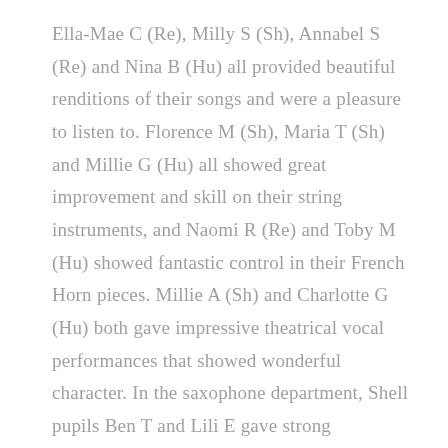Ella-Mae C (Re), Milly S (Sh), Annabel S (Re) and Nina B (Hu) all provided beautiful renditions of their songs and were a pleasure to listen to. Florence M (Sh), Maria T (Sh) and Millie G (Hu) all showed great improvement and skill on their string instruments, and Naomi R (Re) and Toby M (Hu) showed fantastic control in their French Horn pieces. Millie A (Sh) and Charlotte G (Hu) both gave impressive theatrical vocal performances that showed wonderful character. In the saxophone department, Shell pupils Ben T and Lili E gave strong performances that showed